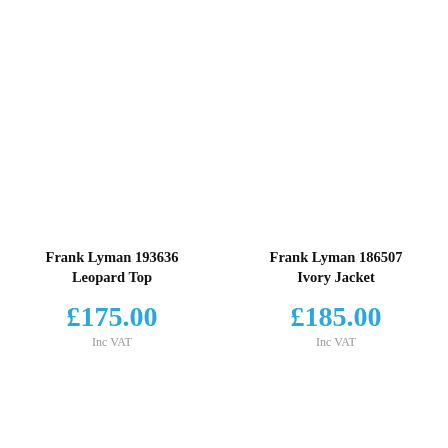Frank Lyman 193636 Leopard Top
£175.00
Inc VAT
Frank Lyman 186507 Ivory Jacket
£185.00
Inc VAT